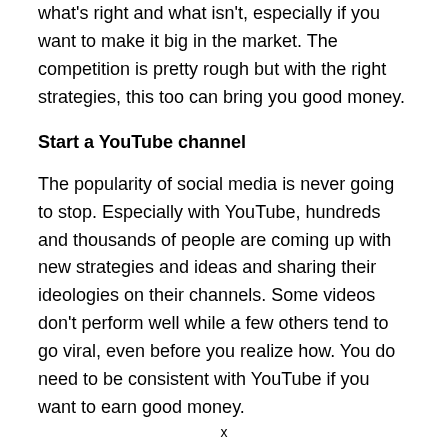what's right and what isn't, especially if you want to make it big in the market. The competition is pretty rough but with the right strategies, this too can bring you good money.
Start a YouTube channel
The popularity of social media is never going to stop. Especially with YouTube, hundreds and thousands of people are coming up with new strategies and ideas and sharing their ideologies on their channels. Some videos don't perform well while a few others tend to go viral, even before you realize how. You do need to be consistent with YouTube if you want to earn good money.
x